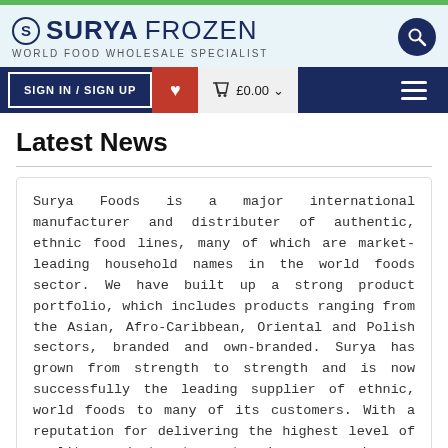SURYA FROZEN - WORLD FOOD WHOLESALE SPECIALIST
Latest News
Surya Foods is a major international manufacturer and distributer of authentic, ethnic food lines, many of which are market-leading household names in the world foods sector. We have built up a strong product portfolio, which includes products ranging from the Asian, Afro-Caribbean, Oriental and Polish sectors, branded and own-branded. Surya has grown from strength to strength and is now successfully the leading supplier of ethnic, world foods to many of its customers. With a reputation for delivering the highest level of quality products at great prices, we endeavour to see what we can do for you and your business